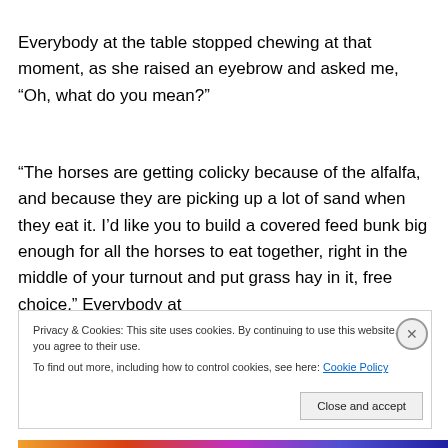Everybody at the table stopped chewing at that moment, as she raised an eyebrow and asked me, “Oh, what do you mean?”
“The horses are getting colicky because of the alfalfa, and because they are picking up a lot of sand when they eat it. I’d like you to build a covered feed bunk big enough for all the horses to eat together, right in the middle of your turnout and put grass hay in it, free choice.” Everybody at
Privacy & Cookies: This site uses cookies. By continuing to use this website, you agree to their use.
To find out more, including how to control cookies, see here: Cookie Policy
Close and accept